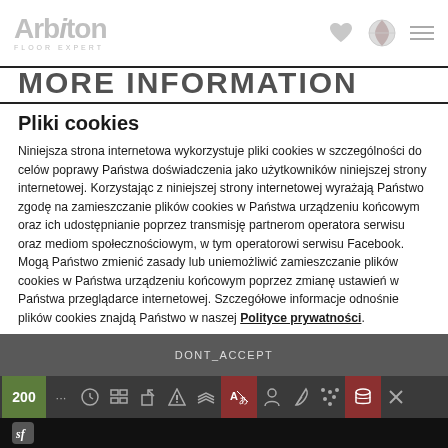Arbiton FLOOR EXPERT
MORE INFORMATION
Pliki cookies
Niniejsza strona internetowa wykorzystuje pliki cookies w szczególności do celów poprawy Państwa doświadczenia jako użytkowników niniejszej strony internetowej. Korzystając z niniejszej strony internetowej wyrażają Państwo zgodę na zamieszczanie plików cookies w Państwa urządzeniu końcowym oraz ich udostępnianie poprzez transmisję partnerom operatora serwisu oraz mediom społecznościowym, w tym operatorowi serwisu Facebook. Mogą Państwo zmienić zasady lub uniemożliwić zamieszczanie plików cookies w Państwa urządzeniu końcowym poprzez zmianę ustawień w Państwa przeglądarce internetowej. Szczegółowe informacje odnośnie plików cookies znajdą Państwo w naszej Polityce prywatności.
DONT_ACCEPT
200 toolbar